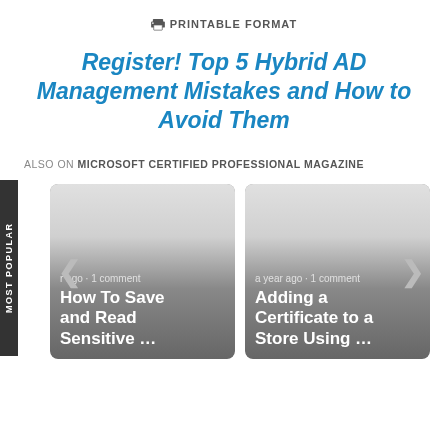PRINTABLE FORMAT
Register! Top 5 Hybrid AD Management Mistakes and How to Avoid Them
ALSO ON MICROSOFT CERTIFIED PROFESSIONAL MAGAZINE
[Figure (screenshot): Two content cards side by side with a 'MOST POPULAR' vertical tab on the left. Left card: 'a year ago · 1 comment' and 'How To Save and Read Sensitive …'. Right card: 'a year ago · 1 comment' and 'Adding a Certificate to a Store Using …'. Navigation arrows on each side.]